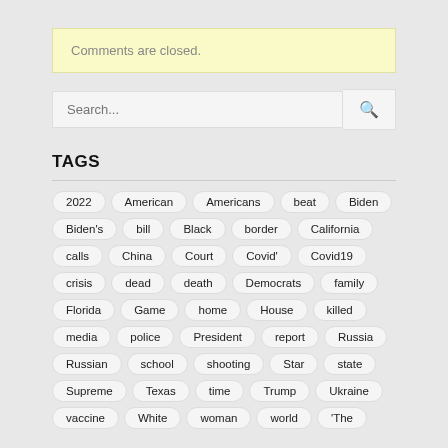Comments are closed.
Search...
TAGS
2022 American Americans beat Biden Biden's bill Black border California calls China Court Covid' Covid19 crisis dead death Democrats family Florida Game home House killed media police President report Russia Russian school shooting Star state Supreme Texas time Trump Ukraine vaccine White woman world 'The